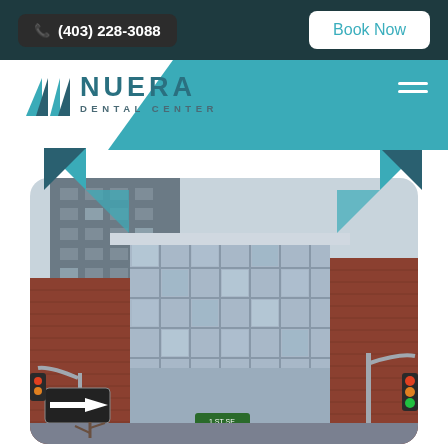(403) 228-3088
Book Now
[Figure (logo): Nuera Dental Center logo with teal geometric N-M mark and text NUERA DENTAL CENTER]
[Figure (photo): Street-level exterior photo of a building at 1 ST SE intersection, featuring brick facade, glass curtain wall, street signs, traffic lights, and multi-story residential tower in background]